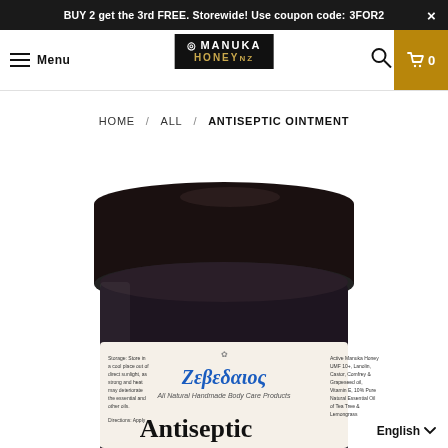BUY 2 get the 3rd FREE. Storewide! Use coupon code: 3FOR2
Menu | MANUKA HONEY NZ | Search | Cart 0
HOME / ALL / ANTISEPTIC OINTMENT
[Figure (photo): A dark glass jar of Zebedaios Antiseptic Ointment with black lid, showing label with Greek text 'Ζεβεδαιος', subtitle 'All Natural Handmade Body Care Products', and 'Antiseptic' text. Label mentions Active Manuka Honey UMF 10+, Lanolin, Castor, Comfrey & Grapeseed oil, Vitamin E, 10% Pure Natural Essential Oil of Tea Tree & Lemongrass.]
English